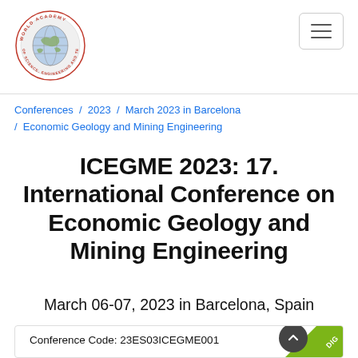[Figure (logo): World Academy of Science, Engineering and Technology circular logo with globe illustration]
Conferences / 2023 / March 2023 in Barcelona / Economic Geology and Mining Engineering
ICEGME 2023: 17. International Conference on Economic Geology and Mining Engineering
March 06-07, 2023 in Barcelona, Spain
Conference Code: 23ES03ICEGME001